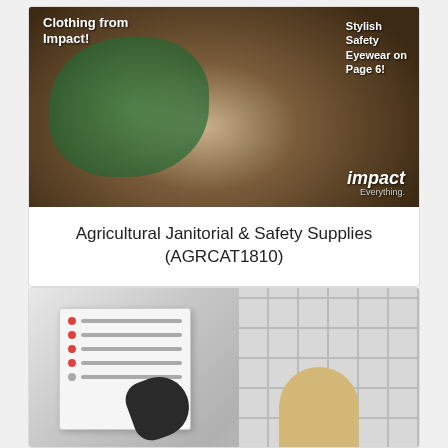[Figure (photo): Catalog cover image showing a person holding a plant seedling tray with blue gloves, wearing a plaid shirt. Text overlays: 'Clothing from Impact!' on upper left, 'Stylish Safety Eyewear on Page 6!' on upper right, and 'impact Everything.' logo on lower right.]
Agricultural Janitorial & Safety Supplies (AGRCAT1810)
[Figure (photo): Photo showing a white wall-mounted cabinet or first-aid station, partially open, with a checklist or inventory sheet inside. A person wearing a black glove is touching the cabinet. On the right side, a tiled wall is visible with a person with blonde hair partially visible.]